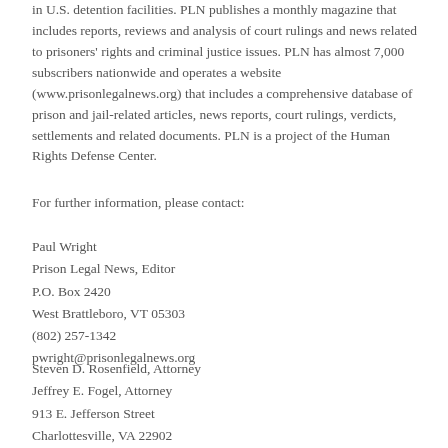in U.S. detention facilities. PLN publishes a monthly magazine that includes reports, reviews and analysis of court rulings and news related to prisoners' rights and criminal justice issues. PLN has almost 7,000 subscribers nationwide and operates a website (www.prisonlegalnews.org) that includes a comprehensive database of prison and jail-related articles, news reports, court rulings, verdicts, settlements and related documents. PLN is a project of the Human Rights Defense Center.
For further information, please contact:
Paul Wright
Prison Legal News, Editor
P.O. Box 2420
West Brattleboro, VT 05303
(802) 257-1342
pwright@prisonlegalnews.org
Steven D. Rosenfield, Attorney
Jeffrey E. Fogel, Attorney
913 E. Jefferson Street
Charlottesville, VA 22902